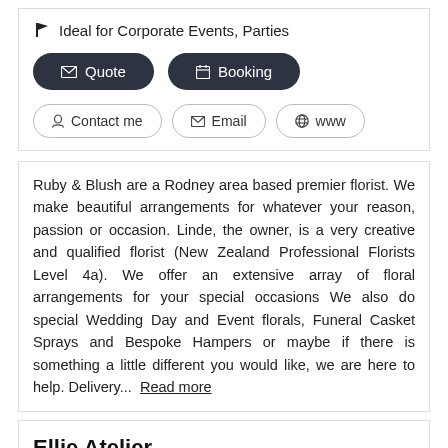Ideal for Corporate Events, Parties
Quote  Booking
Contact me  Email  www
Ruby & Blush are a Rodney area based premier florist. We make beautiful arrangements for whatever your reason, passion or occasion. Linde, the owner, is a very creative and qualified florist (New Zealand Professional Florists Level 4a). We offer an extensive array of floral arrangements for your special occasions We also do special Wedding Day and Event florals, Funeral Casket Sprays and Bespoke Hampers or maybe if there is something a little different you would like, we are here to help. Delivery... Read more
Ellie Atelier
Clothing & Costumes > Wedding Dresses
Ellie Atelier Silverdale (0932) 1